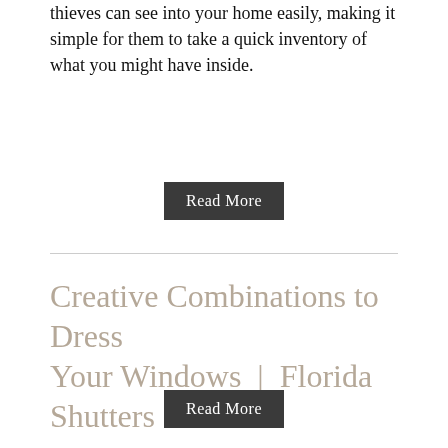thieves can see into your home easily, making it simple for them to take a quick inventory of what you might have inside.
Read More
Creative Combinations to Dress Your Windows | Florida Shutters & Blinds
Read More
Prev 1 2 3 4 5 6 7 8 Next
[Figure (illustration): RSS Subscribe badge with orange RSS icon and dark gray background with white SUBSCRIBE text]